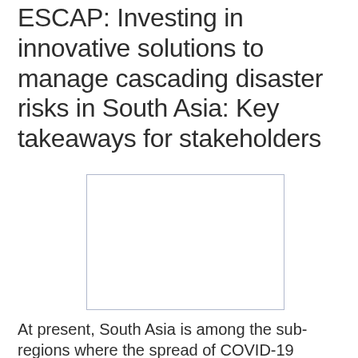ESCAP: Investing in innovative solutions to manage cascading disaster risks in South Asia: Key takeaways for stakeholders
[Figure (photo): Blank or placeholder image box with light blue-grey border]
At present, South Asia is among the sub-regions where the spread of COVID-19